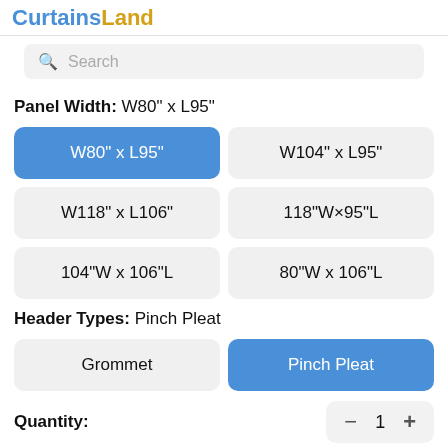CurtainsLand
Search
Panel Width: W80" x L95"
W80" x L95" (selected)
W104" x L95"
W118" x L106"
118"W×95"L
104"W x 106"L
80"W x 106"L
Header Types: Pinch Pleat
Grommet
Pinch Pleat (selected)
Quantity: 1